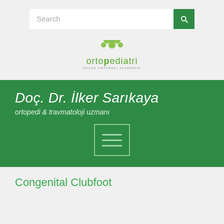[Figure (logo): Ortopediatri logo — green molecule/cross icon above the text 'ortopediatri' in green with subtitle 'ÇOCUK ORTOPEDİ AKADEMİSİ']
Doç. Dr. İlker Sarıkaya
ortopedi & travmatoloji uzmanı
Congenital Clubfoot